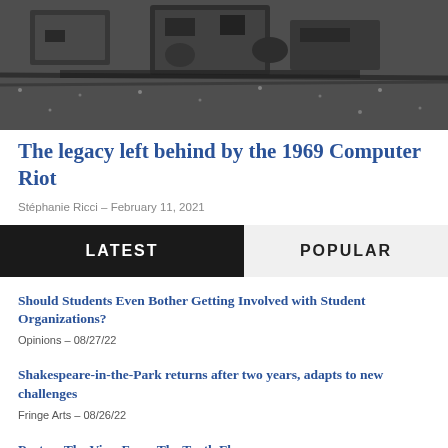[Figure (photo): Black and white aerial photograph showing construction equipment and machinery in snowy or debris-covered ground, related to the 1969 Computer Riot]
The legacy left behind by the 1969 Computer Riot
Stéphanie Ricci – February 11, 2021
LATEST
POPULAR
Should Students Even Bother Getting Involved with Student Organizations?
Opinions – 08/27/22
Shakespeare-in-the-Park returns after two years, adapts to new challenges
Fringe Arts – 08/26/22
Poetry: The View From The Tenth Floor